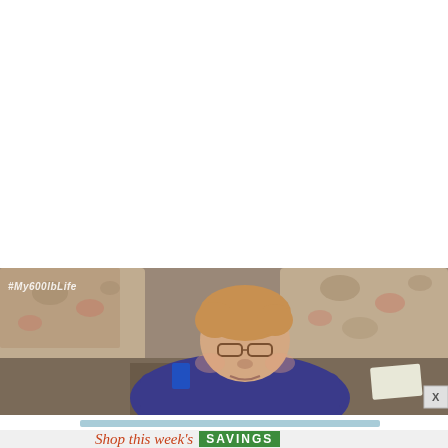[Figure (photo): A heavy-set person in a blue sweater sitting between two floral-patterned sofas on a carpeted floor. A blue cup is visible nearby. The image has a watermark '#My600lbLife' in the upper left corner. An X close button appears at the bottom right of the image.]
Shop this week's SAVINGS